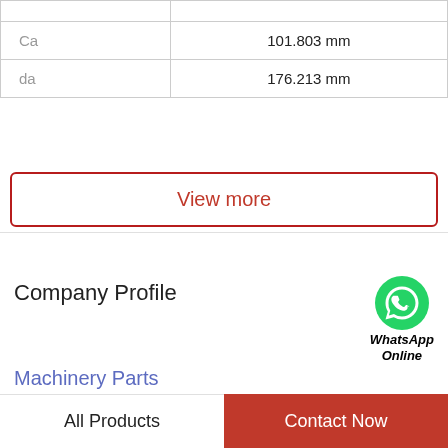| Parameter | Value |
| --- | --- |
| Ca | 101.803 mm |
| da | 176.213 mm |
View more
Company Profile
Machinery Parts
Phone  821-5628
View more
All Products
Contact Now